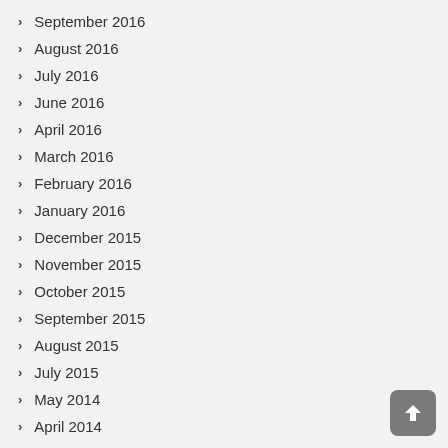September 2016
August 2016
July 2016
June 2016
April 2016
March 2016
February 2016
January 2016
December 2015
November 2015
October 2015
September 2015
August 2015
July 2015
May 2014
April 2014
January 2014